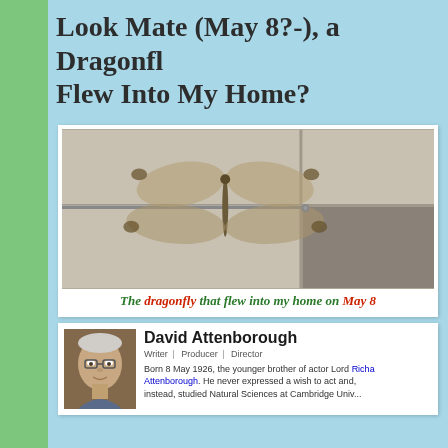Look Mate (May 8?-), a Dragonfly Flew Into My Home?
[Figure (photo): Close-up photo of a dragonfly resting on a tiled wall surface, wings spread horizontally, viewed from above]
The dragonfly that flew into my home on May 8
[Figure (photo): Photo of David Attenborough, an elderly man with glasses]
David Attenborough
Writer | Producer | Director
Born 8 May 1926, the younger brother of actor Lord Richard Attenborough. He never expressed a wish to act and, instead, studied Natural Sciences at Cambridge Univ...